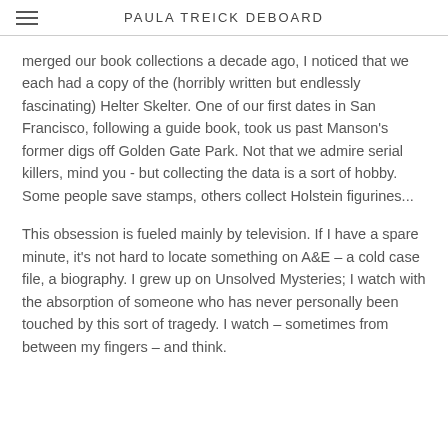PAULA TREICK DEBOARD
merged our book collections a decade ago, I noticed that we each had a copy of the (horribly written but endlessly fascinating) Helter Skelter. One of our first dates in San Francisco, following a guide book, took us past Manson's former digs off Golden Gate Park. Not that we admire serial killers, mind you - but collecting the data is a sort of hobby. Some people save stamps, others collect Holstein figurines...
This obsession is fueled mainly by television. If I have a spare minute, it's not hard to locate something on A&E – a cold case file, a biography. I grew up on Unsolved Mysteries; I watch with the absorption of someone who has never personally been touched by this sort of tragedy. I watch – sometimes from between my fingers – and think.